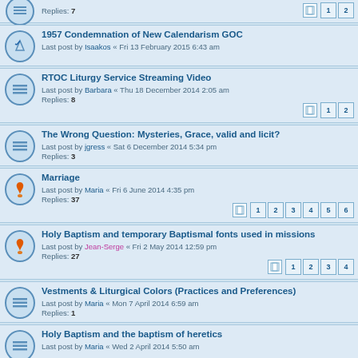Replies: 7
1957 Condemnation of New Calendarism GOC
Last post by Isaakos « Fri 13 February 2015 6:43 am
RTOC Liturgy Service Streaming Video
Last post by Barbara « Thu 18 December 2014 2:05 am
Replies: 8
The Wrong Question: Mysteries, Grace, valid and licit?
Last post by jgress « Sat 6 December 2014 5:34 pm
Replies: 3
Marriage
Last post by Maria « Fri 6 June 2014 4:35 pm
Replies: 37
Holy Baptism and temporary Baptismal fonts used in missions
Last post by Jean-Serge « Fri 2 May 2014 12:59 pm
Replies: 27
Vestments & Liturgical Colors (Practices and Preferences)
Last post by Maria « Mon 7 April 2014 6:59 am
Replies: 1
Holy Baptism and the baptism of heretics
Last post by Maria « Wed 2 April 2014 5:50 am
Valaam chants
Last post by Barbara « Sun 2 February 2014 3:18 am
Replies: 3